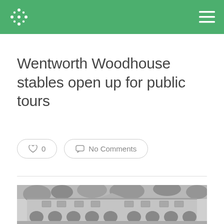Wentworth Woodhouse stables open up for public tours
Wentworth Woodhouse stables open up for public tours
0  No Comments
[Figure (photo): Black and white photograph of a large stone stable building at Wentworth Woodhouse, showing arched doorways on the ground floor and windows above, with bare trees in the background.]